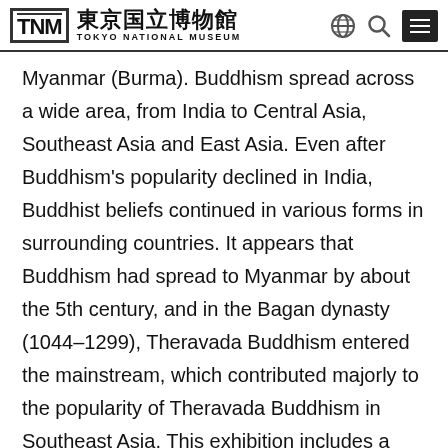TNM 東京国立博物館 TOKYO NATIONAL MUSEUM
Myanmar (Burma). Buddhism spread across a wide area, from India to Central Asia, Southeast Asia and East Asia. Even after Buddhism's popularity declined in India, Buddhist beliefs continued in various forms in surrounding countries. It appears that Buddhism had spread to Myanmar by about the 5th century, and in the Bagan dynasty (1044–1299), Theravada Buddhism entered the mainstream, which contributed majorly to the popularity of Theravada Buddhism in Southeast Asia. This exhibition includes a work depicting the Vessantara jataka, the